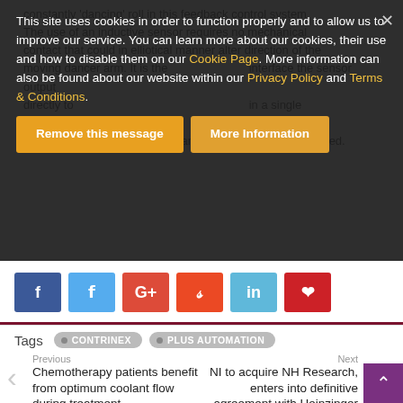constantly 'dancing' roll in this feedback control system. The use of an inductive sensor requires no mechanical contact that could in elliotical manner alter direction of the moving dancer arm. It is the interface the sensor output directly to a controller, with several switch points included in a single device. This greatly simplifies installation, while the problems of wear and tear associated with mechanical contact are also avoided.
This site uses cookies in order to function properly and to allow us to improve our service. You can learn more about our cookies, their use and how to disable them on our Cookie Page. More information can also be found about our website within our Privacy Policy and Terms & Conditions.
Remove this message   More Information
Tags   CONTRINEX   PLUS AUTOMATION
Previous
Chemotherapy patients benefit from optimum coolant flow during treatment
Next
NI to acquire NH Research, enters into definitive agreement with Heinzinger